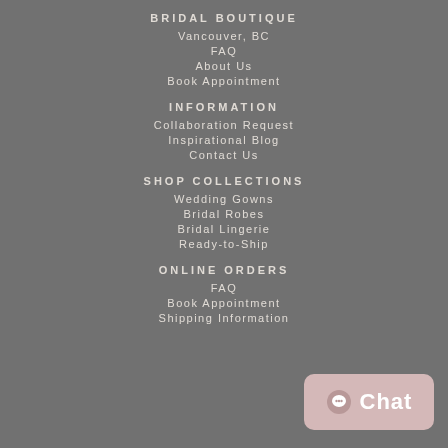BRIDAL BOUTIQUE
Vancouver, BC
FAQ
About Us
Book Appointment
INFORMATION
Collaboration Request
Inspirational Blog
Contact Us
SHOP COLLECTIONS
Wedding Gowns
Bridal Robes
Bridal Lingerie
Ready-to-Ship
ONLINE ORDERS
FAQ
Book Appointment
Shipping Information
[Figure (other): Chat button widget with speech bubble icon and 'Chat' text on a mauve/pink rounded rectangle background]